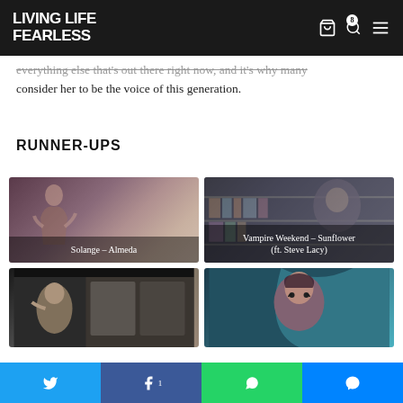LIVING LIFE FEARLESS
everything else that's out there right now, and it's why many consider her to be the voice of this generation.
RUNNER-UPS
[Figure (photo): Solange – Almeda music video thumbnail showing a woman posing]
[Figure (photo): Vampire Weekend – Sunflower (ft. Steve Lacy) music video thumbnail showing shelves and people]
[Figure (photo): Music video thumbnail bottom left]
[Figure (photo): Music video thumbnail bottom right showing person with colorful background]
Share buttons: Twitter, Facebook 1, WhatsApp, Messenger